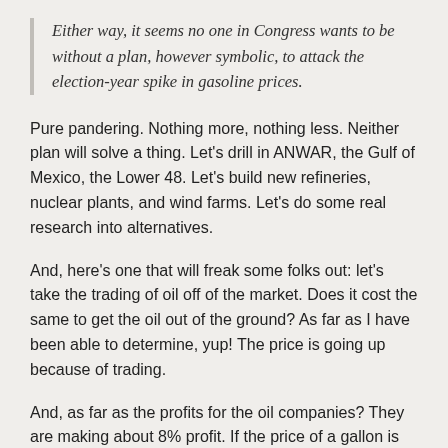Either way, it seems no one in Congress wants to be without a plan, however symbolic, to attack the election-year spike in gasoline prices.
Pure pandering. Nothing more, nothing less. Neither plan will solve a thing. Let's drill in ANWAR, the Gulf of Mexico, the Lower 48. Let's build new refineries, nuclear plants, and wind farms. Let's do some real research into alternatives.
And, here's one that will freak some folks out: let's take the trading of oil off of the market. Does it cost the same to get the oil out of the ground? As far as I have been able to determine, yup! The price is going up because of trading.
And, as far as the profits for the oil companies? They are making about 8% profit. If the price of a gallon is